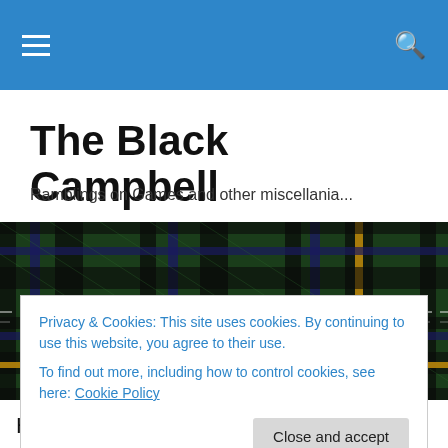The Black Campbell
Ramblings on Games and other miscellania...
[Figure (photo): Black Campbell tartan plaid fabric pattern in dark greens, black, blue, and gold/yellow stripes]
Privacy & Cookies: This site uses cookies. By continuing to use this website, you agree to their use.
To find out more, including how to control cookies, see here: Cookie Policy
Close and accept
Hudson manufacturing in Temple, Texas wanted to